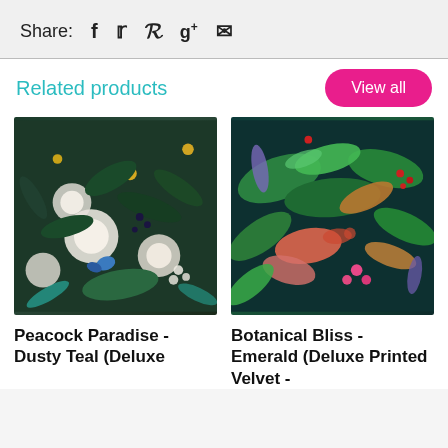Share:  f  𝕏  p  g+  ✉
Related products
View all
[Figure (photo): Peacock Paradise - Dusty Teal fabric with peacock feathers, white flowers, butterflies on dark green background]
Peacock Paradise - Dusty Teal (Deluxe
[Figure (photo): Botanical Bliss - Emerald tropical leaves, colourful foliage on dark teal background]
Botanical Bliss - Emerald (Deluxe Printed Velvet -